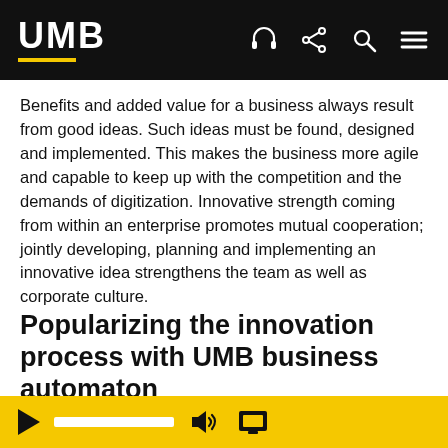UMB
Benefits and added value for a business always result from good ideas. Such ideas must be found, designed and implemented. This makes the business more agile and capable to keep up with the competition and the demands of digitization. Innovative strength coming from within an enterprise promotes mutual cooperation; jointly developing, planning and implementing an innovative idea strengthens the team as well as corporate culture.
Popularizing the innovation process with UMB business automaton